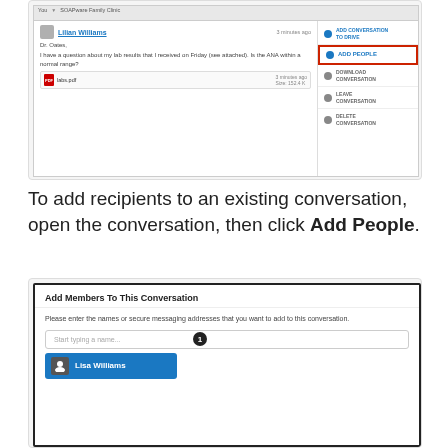[Figure (screenshot): Screenshot of a secure messaging interface showing a conversation with Lilian Williams and a right-side menu with options including ADD CONVERSATION TO DRIVE, ADD PEOPLE (highlighted in red box), DOWNLOAD CONVERSATION, LEAVE CONVERSATION, DELETE CONVERSATION]
To add recipients to an existing conversation, open the conversation, then click Add People.
[Figure (screenshot): Screenshot of Add Members To This Conversation modal dialog showing a text input field with placeholder 'Start typing a name...' with a circled number 1 badge, and a blue suggestion row showing Lisa Williams]